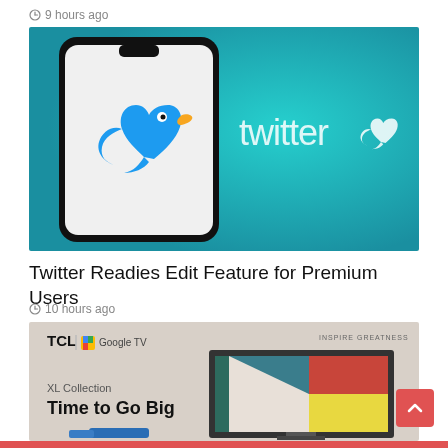9 hours ago
[Figure (photo): A smartphone displaying the Twitter bird logo against a teal background with Twitter logo and bird icon]
Twitter Readies Edit Feature for Premium Users
10 hours ago
[Figure (photo): TCL Google TV advertisement showing XL Collection Time to Go Big with colorful TV display]